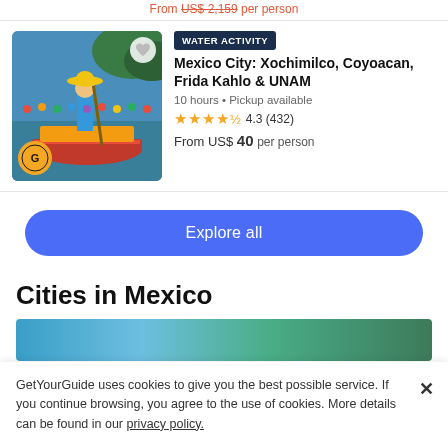From US$ 2,159 per person
[Figure (photo): Photo of a person on a colorful trajinera boat in Xochimilco canals, with GetYourGuide badge and heart icon overlay]
WATER ACTIVITY
Mexico City: Xochimilco, Coyoacan, Frida Kahlo & UNAM
10 hours • Pickup available
4.3 (432)
From US$ 40 per person
Explore all
Cities in Mexico
[Figure (photo): Partial image strip of a city in Mexico]
GetYourGuide uses cookies to give you the best possible service. If you continue browsing, you agree to the use of cookies. More details can be found in our privacy policy.